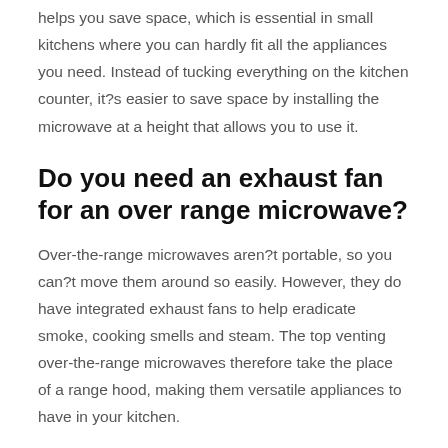helps you save space, which is essential in small kitchens where you can hardly fit all the appliances you need. Instead of tucking everything on the kitchen counter, it?s easier to save space by installing the microwave at a height that allows you to use it.
Do you need an exhaust fan for an over range microwave?
Over-the-range microwaves aren?t portable, so you can?t move them around so easily. However, they do have integrated exhaust fans to help eradicate smoke, cooking smells and steam. The top venting over-the-range microwaves therefore take the place of a range hood, making them versatile appliances to have in your kitchen.
Which is better an OTR microwave or a regular microwave?